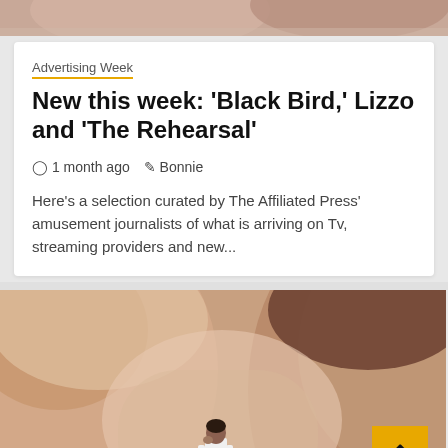[Figure (photo): Partial top strip showing a cropped photo at the top of the page]
Advertising Week
New this week: 'Black Bird,' Lizzo and 'The Rehearsal'
1 month ago   Bonnie
Here’s a selection curated by The Affiliated Press’ amusement journalists of what is arriving on Tv, streaming providers and new...
[Figure (photo): Large photo of a person in a white shirt standing in the background with close-up skin tones filling the foreground, with a gold back-to-top button in the lower right]